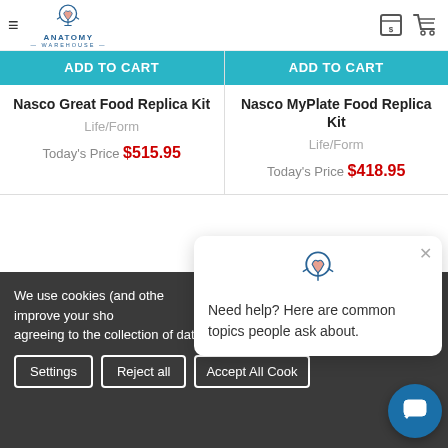[Figure (logo): Anatomy Warehouse logo with brain/head icon and text]
ADD TO CART
ADD TO CART
Nasco Great Food Replica Kit
Nasco MyPlate Food Replica Kit
Life/Form
Life/Form
Today's Price $515.95
Today's Price $418.95
We use cookies (and other) data to improve your sho website, you're agreeing to the collection of data as described in our Privacy Policy.
Need help? Here are common topics people ask about.